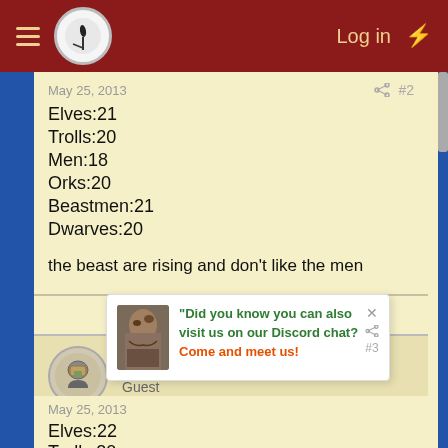Log in
May 25, 2013 #2
Elves:21
Trolls:20
Men:18
Orks:20
Beastmen:21
Dwarves:20
the beast are rising and don't like the men
Chernabog
Guest
May 25, 2013 #3
Elves:22
Trolls:20
"Did you know you can also visit us on our Discord chat? Come and meet us!